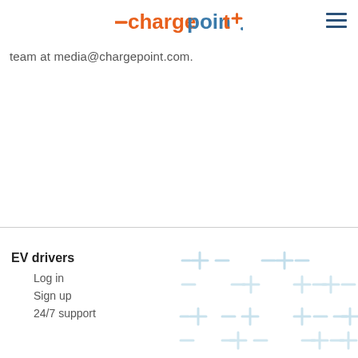ChargePoint logo and navigation menu
team at media@chargepoint.com.
EV drivers
Log in
Sign up
24/7 support